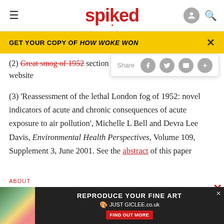spiked
GET YOUR COPY OF HOW WOKE WON
(2) Great smog of 1952 section of website
(3) ‘Reassessment of the lethal London fog of 1952: novel indicators of acute and chronic consequences of acute exposure to air pollution’, Michelle L Bell and Devra Lee Davis, Environmental Health Perspectives, Volume 109, Supplement 3, June 2001. See the abstract of this paper
[Figure (screenshot): Advertisement for JUST GICLEE art reproduction service with colorful sticky notes image and red FIND OUT MORE button]